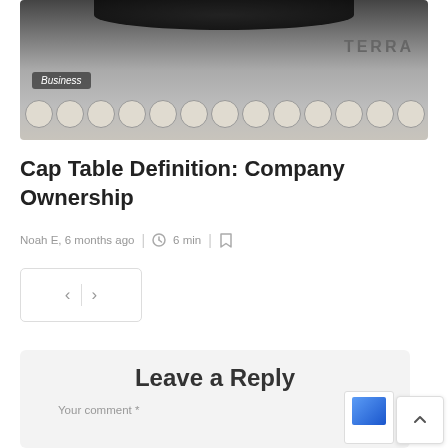[Figure (photo): Close-up photo of a vintage typewriter showing keys and part of the machine body, with a 'Business' badge overlay]
Cap Table Definition: Company Ownership
Noah E, 6 months ago  |  6 min  |
[Figure (other): Navigation widget with left and right arrow buttons separated by a vertical divider]
Leave a Reply
Your comment *